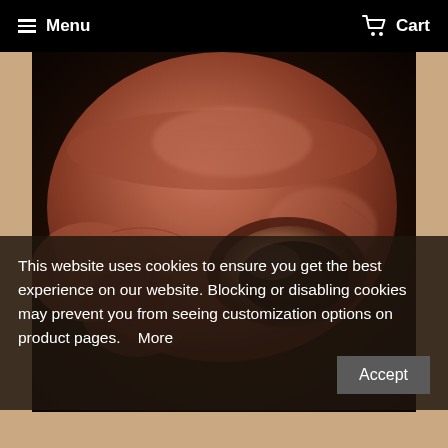≡ Menu   Cart
[Figure (illustration): Close-up 3D render of a terracotta/reddish-brown skull or mask with a smooth skin-textured surface, showing an eye socket cavity. Dark background. ZBrush-style 3D model.]
This website uses cookies to ensure you get the best experience on our website. Blocking or disabling cookies may prevent you from seeing customization options on product pages.    More
Accept